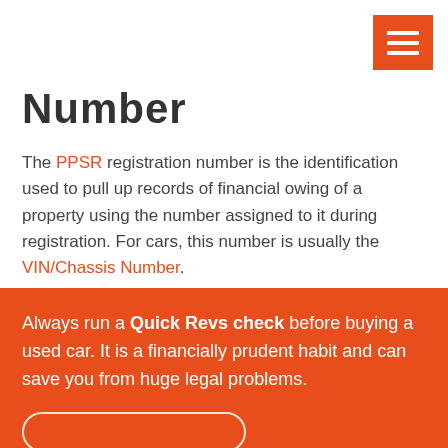Number
The PPSR registration number is the identification used to pull up records of financial owing of a property using the number assigned to it during registration. For cars, this number is usually the VIN/Chassis Number.
Always run a Quick Revs check before buying a used car. It is a financially prudent habit and can save you from huge legal problems.